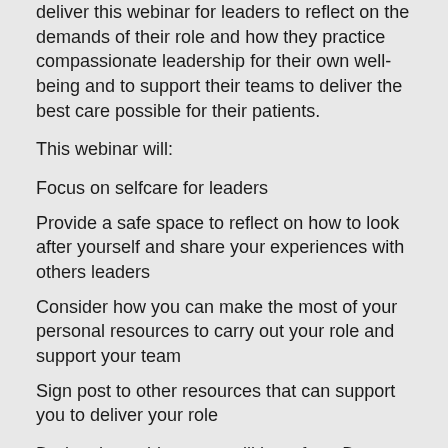deliver this webinar for leaders to reflect on the demands of their role and how they practice compassionate leadership for their own well-being and to support their teams to deliver the best care possible for their patients.
This webinar will:
Focus on selfcare for leaders
Provide a safe space to reflect on how to look after yourself and share your experiences with others leaders
Consider how you can make the most of your personal resources to carry out your role and support your team
Sign post to other resources that can support you to deliver your role
During the webinar, you will hear from Dame Clare Gerada and Dr Ananta Dave about their experiences of leading during the pandemic and their reflections on